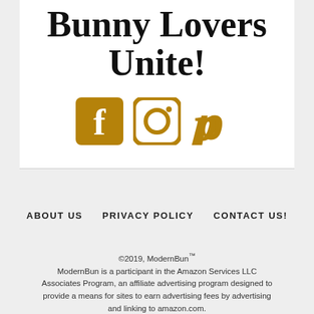Bunny Lovers Unite!
[Figure (illustration): Three social media icons in dark gold/amber color: Facebook square icon, Instagram rounded square icon, and Pinterest P icon]
ABOUT US   PRIVACY POLICY   CONTACT US!
©2019, ModernBun™
ModernBun is a participant in the Amazon Services LLC Associates Program, an affiliate advertising program designed to provide a means for sites to earn advertising fees by advertising and linking to amazon.com.